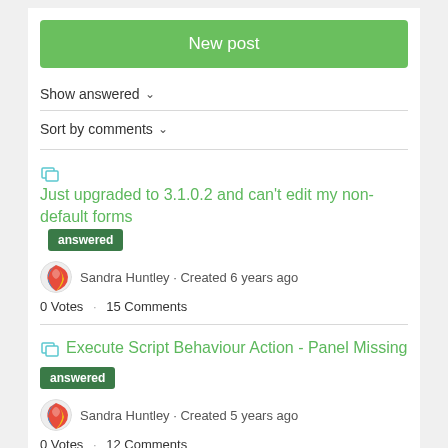New post
Show answered ▾
Sort by comments ▾
Just upgraded to 3.1.0.2 and can't edit my non-default forms  answered
Sandra Huntley · Created 6 years ago
0 Votes  ·  15 Comments
Execute Script Behaviour Action - Panel Missing  answered
Sandra Huntley · Created 5 years ago
0 Votes  ·  12 Comments